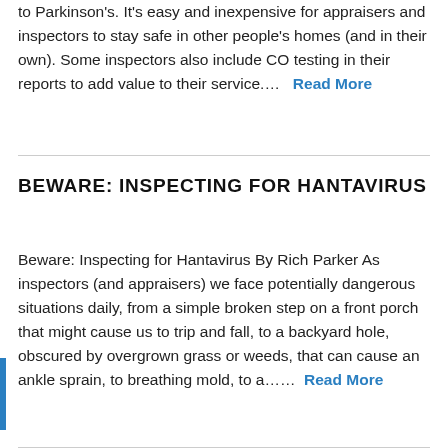to Parkinson's. It's easy and inexpensive for appraisers and inspectors to stay safe in other people's homes (and in their own). Some inspectors also include CO testing in their reports to add value to their service….    Read More
BEWARE: INSPECTING FOR HANTAVIRUS
Beware: Inspecting for Hantavirus By Rich Parker As inspectors (and appraisers) we face potentially dangerous situations daily, from a simple broken step on a front porch that might cause us to trip and fall, to a backyard hole, obscured by overgrown grass or weeds, that can cause an ankle sprain, to breathing mold, to a……   Read More